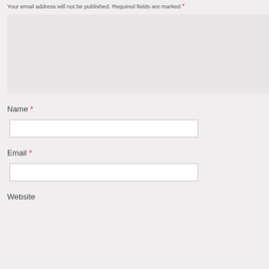Your email address will not be published. Required fields are marked *
[Figure (screenshot): A large empty comment textarea with light gray background]
Name *
[Figure (screenshot): Empty text input field for Name]
Email *
[Figure (screenshot): Empty text input field for Email]
Website